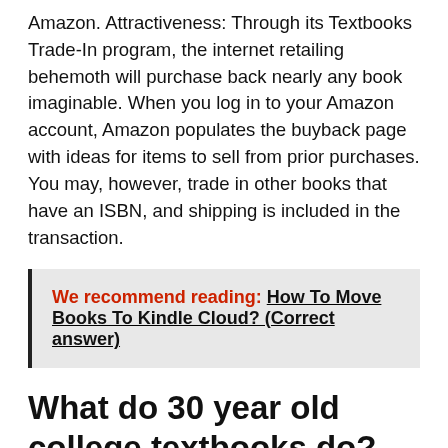Amazon. Attractiveness: Through its Textbooks Trade-In program, the internet retailing behemoth will purchase back nearly any book imaginable. When you log in to your Amazon account, Amazon populates the buyback page with ideas for items to sell from prior purchases. You may, however, trade in other books that have an ISBN, and shipping is included in the transaction.
We recommend reading: How To Move Books To Kindle Cloud? (Correct answer)
What do 30 year old college textbooks do?